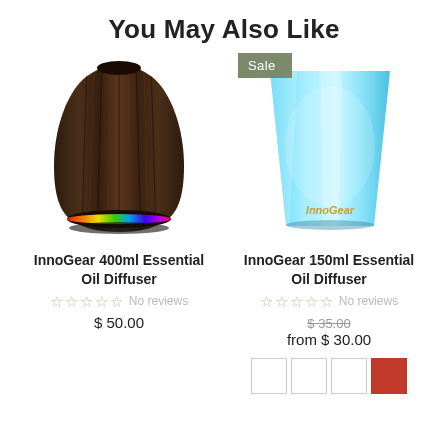You May Also Like
[Figure (photo): InnoGear 400ml Essential Oil Diffuser - dark wood grain teardrop shape with rainbow LED light ring at base]
InnoGear 400ml Essential Oil Diffuser
☆☆☆☆☆ No reviews
$ 50.00
[Figure (photo): InnoGear 150ml Essential Oil Diffuser - light blue glowing trapezoid shape with Sale badge]
InnoGear 150ml Essential Oil Diffuser
☆☆☆☆☆ No reviews
$ 35.00 (strikethrough) from $ 30.00